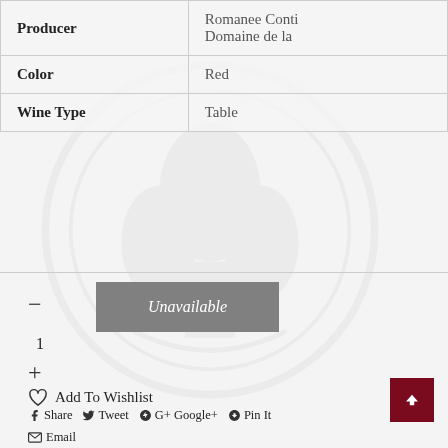|  |  |
| --- | --- |
| Producer | Romanee Conti Domaine de la |
| Color | Red |
| Wine Type | Table |
— 1 + Unavailable
♡ Add To Wishlist
Share  Tweet  Google+  Pin It
Email